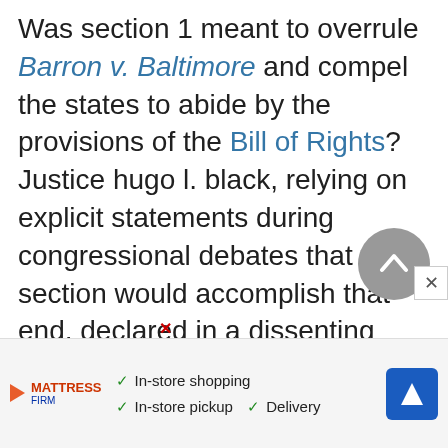Was section 1 meant to overrule Barron v. Baltimore and compel the states to abide by the provisions of the Bill of Rights? Justice hugo l. black, relying on explicit statements during congressional debates that the section would accomplish that end, declared in a dissenting opinion in Adamson v. California (1947) that the Fourteenth Amendment did incorporate the Bill of Rights and apply it to the states. Some scholars have supported Black's position